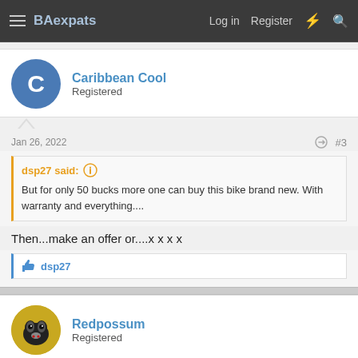BAexpats  Log in  Register
Caribbean Cool
Registered
Jan 26, 2022  #3
dsp27 said:
But for only 50 bucks more one can buy this bike brand new. With warranty and everything....
Then...make an offer or....x x x x
dsp27
Redpossum
Registered
Jan 26, 2022  #4